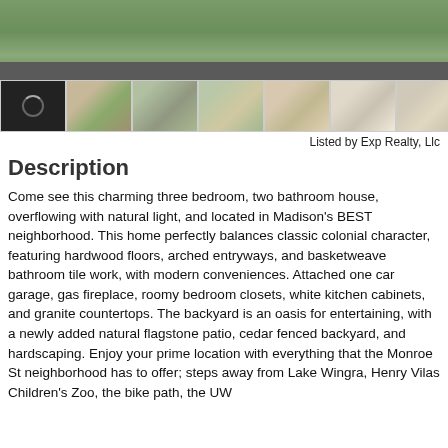[Figure (photo): Main exterior photo of house with grass and driveway visible, with dark gray bar at the bottom]
[Figure (photo): Row of thumbnail photos: loading spinner (dark), driveway/exterior, front of house, side of house, interior room with windows, interior hallway/arch, interior room with windows]
Listed by Exp Realty, Llc
Description
Come see this charming three bedroom, two bathroom house, overflowing with natural light, and located in Madison's BEST neighborhood. This home perfectly balances classic colonial character, featuring hardwood floors, arched entryways, and basketweave bathroom tile work, with modern conveniences. Attached one car garage, gas fireplace, roomy bedroom closets, white kitchen cabinets, and granite countertops. The backyard is an oasis for entertaining, with a newly added natural flagstone patio, cedar fenced backyard, and hardscaping. Enjoy your prime location with everything that the Monroe St neighborhood has to offer; steps away from Lake Wingra, Henry Vilas Children's Zoo, the bike path, the UW